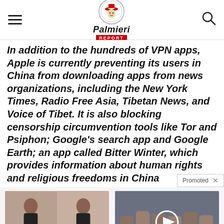Palmieri Report
In addition to the hundreds of VPN apps, Apple is currently preventing its users in China from downloading apps from news organizations, including the New York Times, Radio Free Asia, Tibetan News, and Voice of Tibet. It is also blocking censorship circumvention tools like Tor and Psiphon; Google’s search app and Google Earth; an app called Bitter Winter, which provides information about human rights and religious freedoms in China
[Figure (photo): Before and after photo of a woman's back, advertisement for weight loss product]
A Teaspoon On An Empty Stomach Burns 12 Lbs Of Fat A Week Safely!
7,207
[Figure (photo): Close-up photo of hands with a video play button overlay, advertisement for blood pressure information]
4 Worst Blood Pressure Drugs (Avoid At All Costs)
5,879